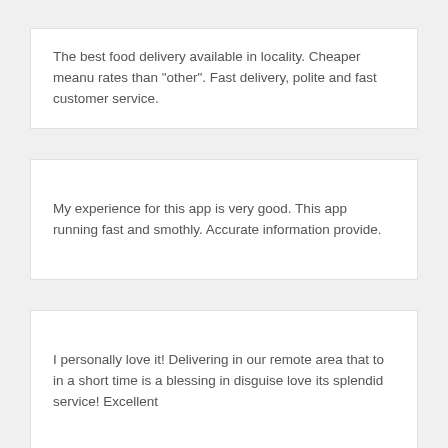The best food delivery available in locality. Cheaper meanu rates than "other". Fast delivery, polite and fast customer service.
My experience for this app is very good. This app running fast and smothly. Accurate information provide.
I personally love it! Delivering in our remote area that to in a short time is a blessing in disguise love its splendid service! Excellent
it is very nice app .we deliver from nearest to farthest possible areas of the city as per our reachability.I like it